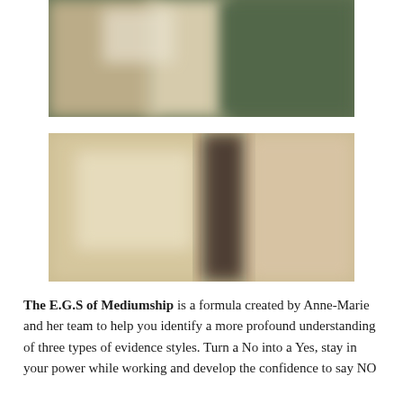[Figure (photo): Blurred photo showing a dark green background with some objects/poster visible, cropped at top of page]
[Figure (photo): Blurred photo of a person standing in front of a framed board/poster in a warm-lit room]
The E.G.S of Mediumship is a formula created by Anne-Marie and her team to help you identify a more profound understanding of three types of evidence styles. Turn a No into a Yes, stay in your power while working and develop the confidence to say NO